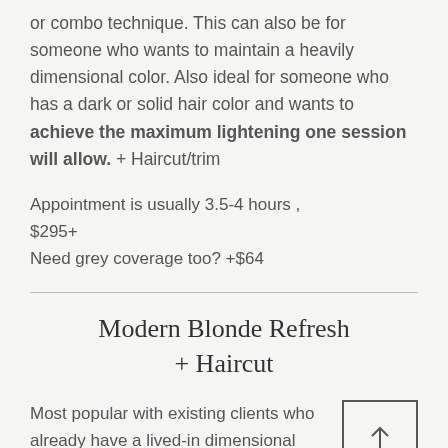or combo technique. This can also be for someone who wants to maintain a heavily dimensional color. Also ideal for someone who has a dark or solid hair color and wants to achieve the maximum lightening one session will allow. + Haircut/trim
Appointment is usually 3.5-4 hours , $295+
Need grey coverage too? +$64
Modern Blonde Refresh + Haircut
Most popular with existing clients who already have a lived-in dimensional color whether it be highlights, balayage, or a combo technique, but can be adapted for a new guest who wants to make a